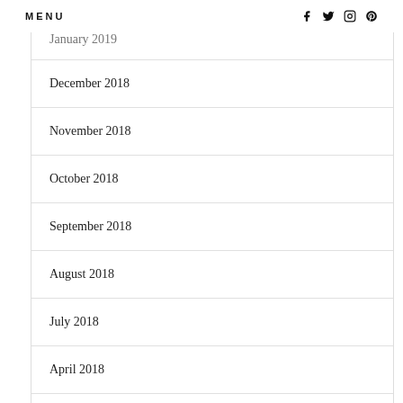MENU  f  twitter  instagram  pinterest
January 2019
December 2018
November 2018
October 2018
September 2018
August 2018
July 2018
April 2018
March 2018